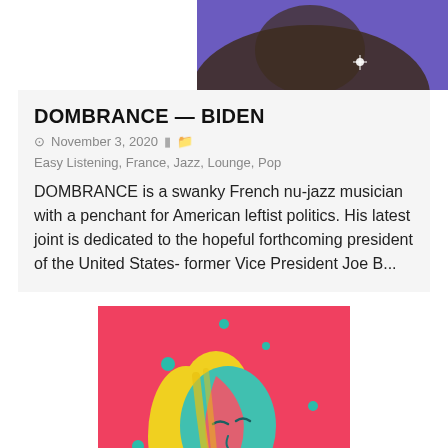[Figure (illustration): Top portion of an illustration with purple/violet background showing a figure, partially cropped at top of page]
DOMBRANCE — BIDEN
November 3, 2020  Easy Listening, France, Jazz, Lounge, Pop
DOMBRANCE is a swanky French nu-jazz musician with a penchant for American leftist politics. His latest joint is dedicated to the hopeful forthcoming president of the United States- former Vice President Joe B...
[Figure (illustration): Illustration of a woman with yellow hair and teal/cyan face on a red/pink background, with small teal dots scattered around. The figure appears split or layered.]